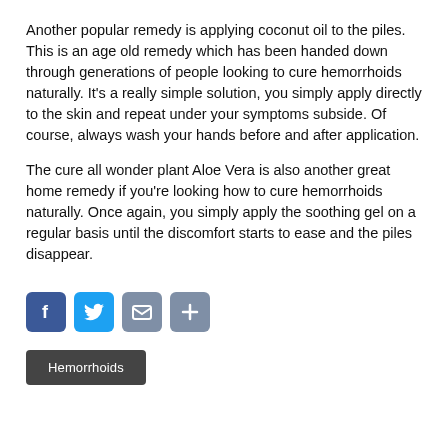Another popular remedy is applying coconut oil to the piles. This is an age old remedy which has been handed down through generations of people looking to cure hemorrhoids naturally. It's a really simple solution, you simply apply directly to the skin and repeat under your symptoms subside. Of course, always wash your hands before and after application. The cure all wonder plant Aloe Vera is also another great home remedy if you're looking how to cure hemorrhoids naturally. Once again, you simply apply the soothing gel on a regular basis until the discomfort starts to ease and the piles disappear.
[Figure (infographic): Social sharing buttons: Facebook, Twitter, Email, Share (plus icon)]
Hemorrhoids